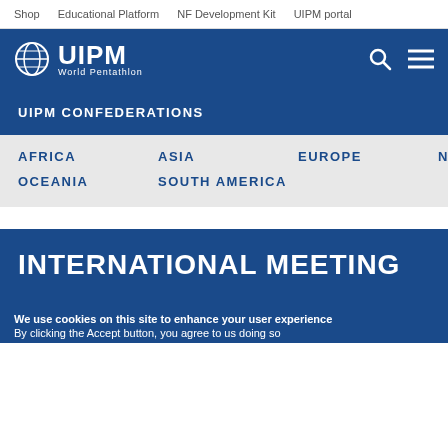Shop   Educational Platform   NF Development Kit   UIPM portal
[Figure (logo): UIPM World Pentathlon logo with globe icon, white text on blue background, with search and menu icons]
UIPM CONFEDERATIONS
AFRICA
ASIA
EUROPE
NORCECA
OCEANIA
SOUTH AMERICA
INTERNATIONAL MEETING
We use cookies on this site to enhance your user experience
By clicking the Accept button, you agree to us doing so